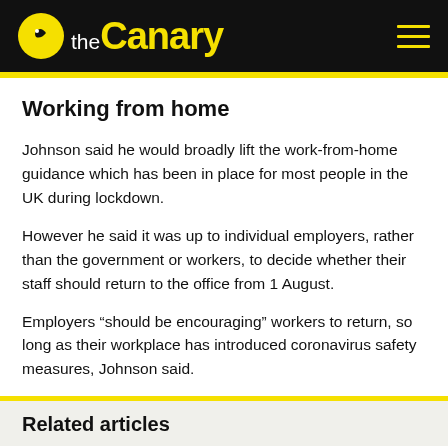the Canary
Working from home
Johnson said he would broadly lift the work-from-home guidance which has been in place for most people in the UK during lockdown.
However he said it was up to individual employers, rather than the government or workers, to decide whether their staff should return to the office from 1 August.
Employers “should be encouraging” workers to return, so long as their workplace has introduced coronavirus safety measures, Johnson said.
Related articles